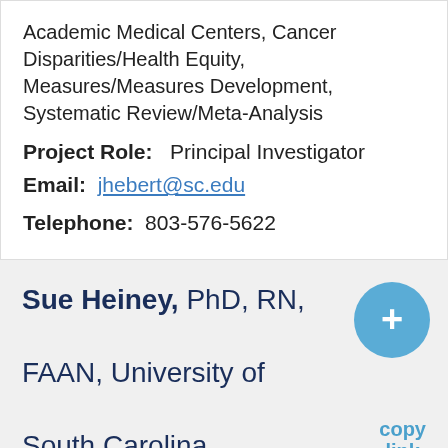Academic Medical Centers, Cancer Disparities/Health Equity, Measures/Measures Development, Systematic Review/Meta-Analysis
Project Role:   Principal Investigator
Email:  jhebert@sc.edu
Telephone:  803-576-5622
Sue Heiney, PhD, RN, FAAN, University of South Carolina